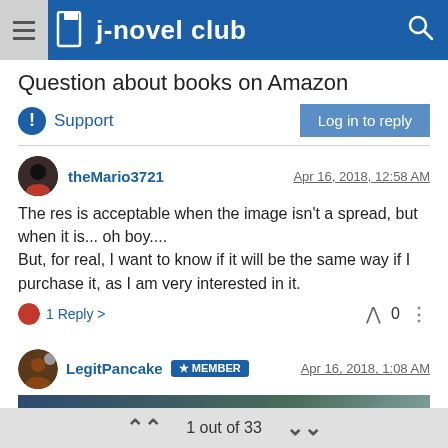j-novel club
Question about books on Amazon
Support   Log in to reply
theMario3721   Apr 16, 2018, 12:58 AM

The res is acceptable when the image isn't a spread, but when it is... oh boy....
But, for real, I want to know if it will be the same way if I purchase it, as I am very interested in it.

1 Reply >   0
LegitPancake  MEMBER   Apr 16, 2018, 1:08 AM
[Figure (photo): Dark teal/blue-green image preview, partially visible]
1 out of 33